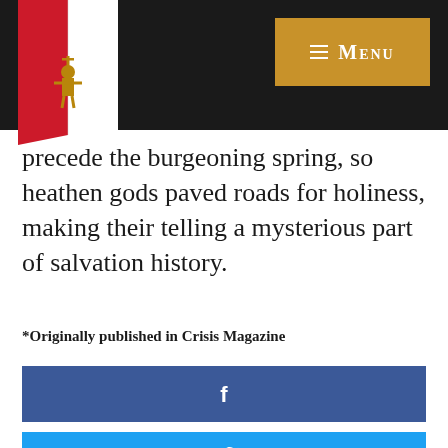[Figure (logo): Crisis Magazine logo — bookmark-shaped badge with red left half and white right half, with a golden figure emblem]
[Figure (other): Gold/amber menu button with hamburger icon and 'Menu' text in small caps]
precede the burgeoning spring, so heathen gods paved roads for holiness, making their telling a mysterious part of salvation history.
*Originally published in Crisis Magazine
[Figure (other): Facebook share button — dark blue rectangle with white Facebook 'f' icon]
[Figure (other): Twitter share button — light blue rectangle with white Twitter bird icon]